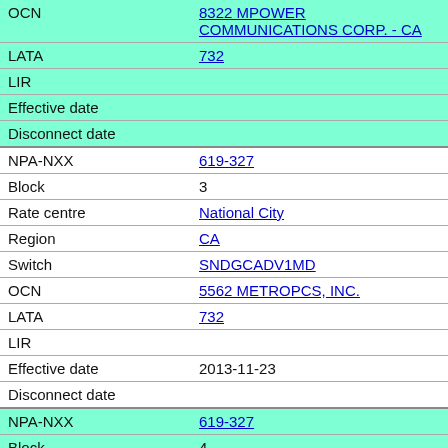| OCN | 8322 MPOWER COMMUNICATIONS CORP. - CA |
| LATA | 732 |
| LIR |  |
| Effective date |  |
| Disconnect date |  |
| NPA-NXX | 619-327 |
| Block | 3 |
| Rate centre | National City |
| Region | CA |
| Switch | SNDGCADV1MD |
| OCN | 5562 METROPCS, INC. |
| LATA | 732 |
| LIR |  |
| Effective date | 2013-11-23 |
| Disconnect date |  |
| NPA-NXX | 619-327 |
| Block | 4 |
| Rate centre | National City |
| Region | CA |
| Switch | SNDGCA02XSZ |